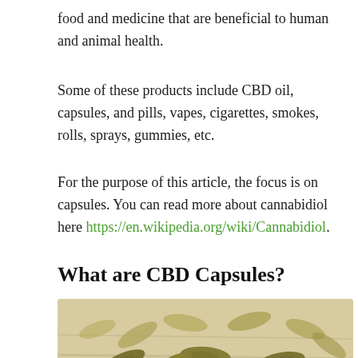food and medicine that are beneficial to human and animal health.
Some of these products include CBD oil, capsules, and pills, vapes, cigarettes, smokes, rolls, sprays, gummies, etc.
For the purpose of this article, the focus is on capsules. You can read more about cannabidiol here https://en.wikipedia.org/wiki/Cannabidiol.
What are CBD Capsules?
[Figure (photo): Multiple green/olive colored CBD capsules scattered on a light wooden surface, photographed from a low angle]